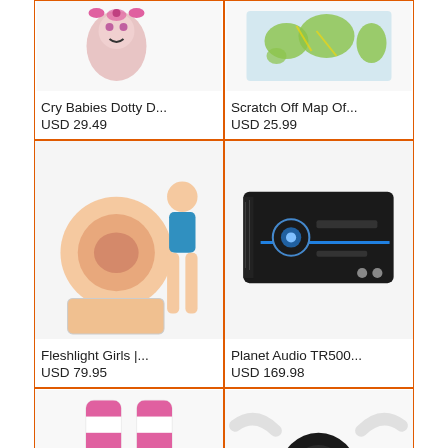[Figure (photo): Cry Babies Dotty D product image]
Cry Babies Dotty D...
USD 29.49
[Figure (photo): Scratch Off Map Of product image]
Scratch Off Map Of...
USD 25.99
[Figure (photo): Fleshlight Girls product image]
Fleshlight Girls |...
USD 79.95
[Figure (photo): Planet Audio TR500 car amplifier product image]
Planet Audio TR500...
USD 169.98
[Figure (photo): Pink and white striped leggings product image]
Sassy Body Bo...
[Figure (photo): Black garden bag holder with green bag product image]
Shoulder Bo...